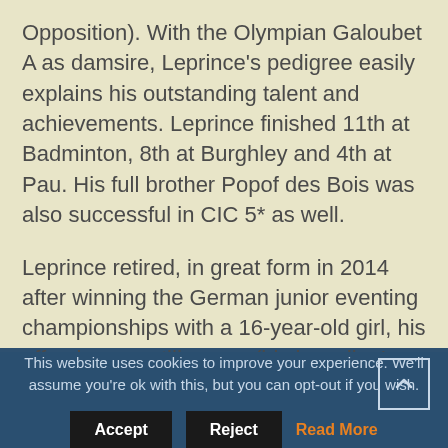Opposition). With the Olympian Galoubet A as damsire, Leprince's pedigree easily explains his outstanding talent and achievements. Leprince finished 11th at Badminton, 8th at Burghley and 4th at Pau. His full brother Popof des Bois was also successful in CIC 5* as well.
Leprince retired, in great form in 2014 after winning the German junior eventing championships with a 16-year-old girl, his offspring are still young (his breeding's were limited before The Stallion Company acquired
This website uses cookies to improve your experience. We'll assume you're ok with this, but you can opt-out if you wish.